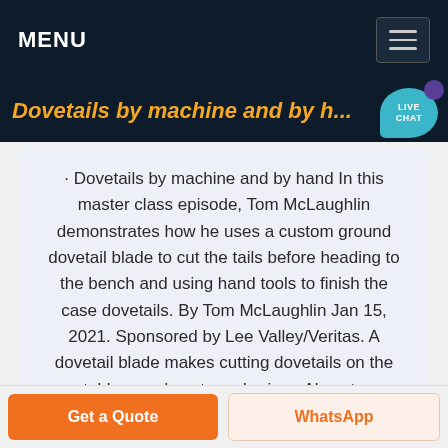MENU
Dovetails by machine and by h...
· Dovetails by machine and by hand In this master class episode, Tom McLaughlin demonstrates how he uses a custom ground dovetail blade to cut the tails before heading to the bench and using hand tools to finish the case dovetails. By Tom McLaughlin Jan 15, 2021. Sponsored by Lee Valley/Veritas. A dovetail blade makes cutting dovetails on the tablesaw almost a nobrainer. Almost .
Get a Quote
WhatsApp